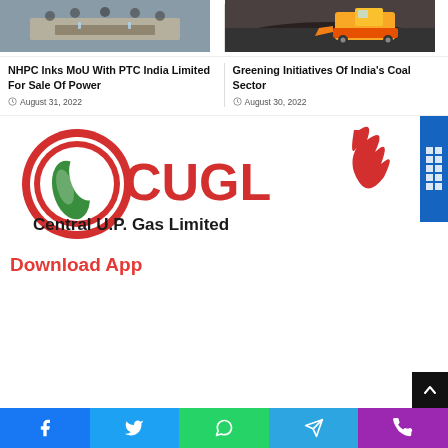[Figure (photo): Photo of a meeting room with people seated around a U-shaped table, left column]
[Figure (photo): Photo of a yellow coal mining loader/bulldozer on a coal pile, right column]
NHPC Inks MoU With PTC India Limited For Sale Of Power
August 31, 2022
Greening Initiatives Of India's Coal Sector
August 30, 2022
[Figure (logo): CUGL Central U.P. Gas Limited logo — red circle with green flame leaf, red CUGL text, black tagline Central U.P. Gas Limited, red flame on right]
Download App
[Figure (infographic): Social share bar with Facebook (blue), Twitter (light blue), WhatsApp (green), Telegram (blue), Phone (purple) icons]